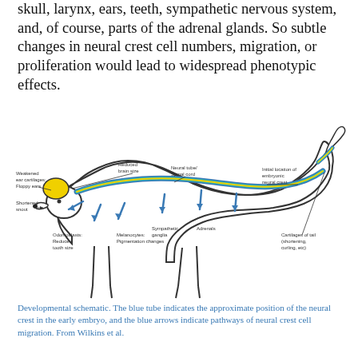skull, larynx, ears, teeth, sympathetic nervous system, and, of course, parts of the adrenal glands. So subtle changes in neural crest cell numbers, migration, or proliferation would lead to widespread phenotypic effects.
[Figure (schematic): Developmental schematic of a fox/dog showing neural crest cell migration pathways. A blue and yellow tube runs along the spine indicating the neural tube/spinal cord and initial location of embryonic neural crest. Blue arrows indicate migration pathways. Labels include: Weakened ear cartilages/Floppy ears, Reduced brain size, Neural tube/Spinal cord, Initial location of embryonic neural crest, Shortened snout, Odontoblasts: Reduced tooth size, Melanocytes: Pigmentation changes, Sympathetic ganglia, Adrenals, Cartilages of tail (shortening, curling, etc).]
Developmental schematic. The blue tube indicates the approximate position of the neural crest in the early embryo, and the blue arrows indicate pathways of neural crest cell migration. From Wilkins et al.